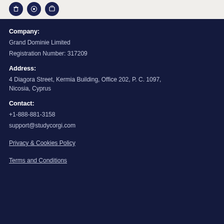Company:
Grand Dominie Limited
Registration Number: 317209
Address:
4 Diagora Street, Kermia Building, Office 202, P. C. 1097, Nicosia, Cyprus
Contact:
+1-888-881-3158
support@studycorgi.com
Privacy & Cookies Policy
Terms and Conditions